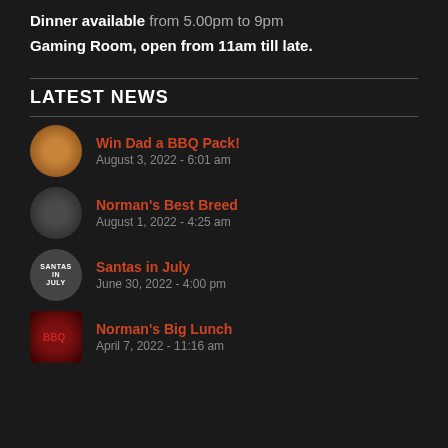Dinner available from 5.00pm to 9pm
Gaming Room, open from 11am till late.
LATEST NEWS
Win Dad a BBQ Pack! August 3, 2022 - 6:01 am
Norman's Best Breed August 1, 2022 - 4:25 am
Santas in July June 30, 2022 - 4:00 pm
Norman's Big Lunch April 7, 2022 - 11:16 am